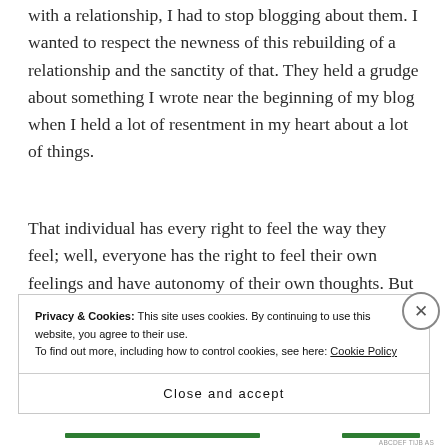with a relationship, I had to stop blogging about them. I wanted to respect the newness of this rebuilding of a relationship and the sanctity of that. They held a grudge about something I wrote near the beginning of my blog when I held a lot of resentment in my heart about a lot of things.
That individual has every right to feel the way they feel; well, everyone has the right to feel their own feelings and have autonomy of their own thoughts. But to publicly ridicule what their thoughts were and blog my own thoughts and feelings is toxic. My
Privacy & Cookies: This site uses cookies. By continuing to use this website, you agree to their use.
To find out more, including how to control cookies, see here: Cookie Policy
Close and accept